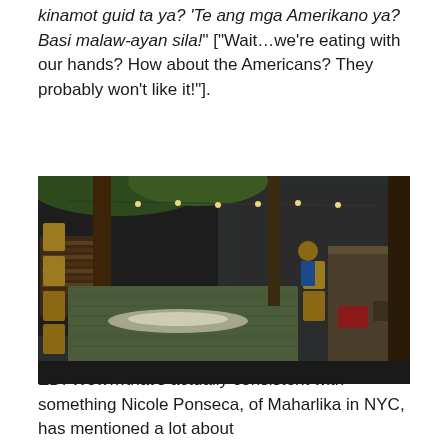kinamot guid ta ya?  'Te ang mga Amerikano ya?  Basi malaw-ayan sila!' ["Wait…we're eating with our hands?  How about the Americans?  They probably won't like it!"].
[Figure (photo): Outdoor restaurant dining area set up for a boodle fight / kamayan-style meal. Long tables lined with banana leaves and topped with flowers/food as centerpiece. Bamboo/rattan chairs surround the tables. String lights hang overhead among trees. Wooden walls and a raised wooden platform structure visible in the background. A person in the background near the right side.]
ED: Wow…that's actually consistent with something Nicole Ponseca, of Maharlika in NYC, has mentioned a lot about